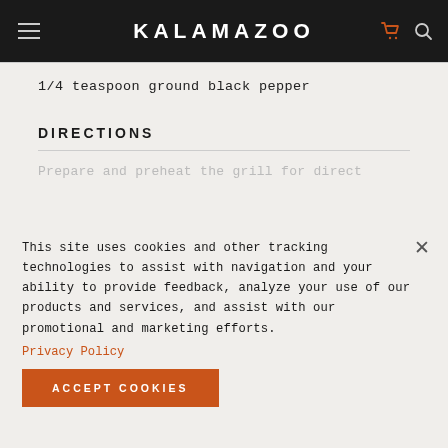KALAMAZOO
1/4 teaspoon ground black pepper
DIRECTIONS
Prepare and preheat the grill for direct
This site uses cookies and other tracking technologies to assist with navigation and your ability to provide feedback, analyze your use of our products and services, and assist with our promotional and marketing efforts. Privacy Policy
screen on the grill and put the
while on the screen. Cook
are charred on all sides.